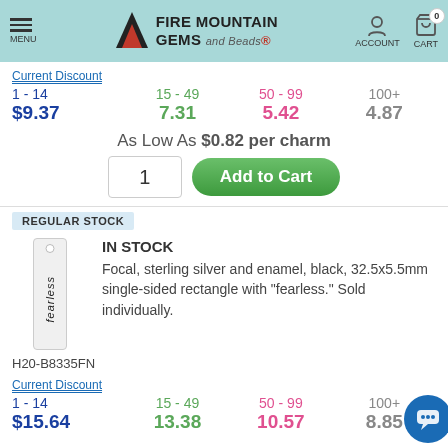MENU | FIRE MOUNTAIN GEMS and Beads | ACCOUNT | CART 0
Current Discount
| 1 - 14 | 15 - 49 | 50 - 99 | 100+ |
| --- | --- | --- | --- |
| $9.37 | 7.31 | 5.42 | 4.87 |
As Low As $0.82 per charm
1  Add to Cart
REGULAR STOCK
[Figure (photo): Sterling silver and enamel rectangular charm with 'fearless' text written vertically]
IN STOCK
Focal, sterling silver and enamel, black, 32.5x5.5mm single-sided rectangle with "fearless." Sold individually.
H20-B8335FN
Current Discount
| 1 - 14 | 15 - 49 | 50 - 99 | 100+ |
| --- | --- | --- | --- |
| $15.64 | 13.38 | 10.57 | 8.85 |